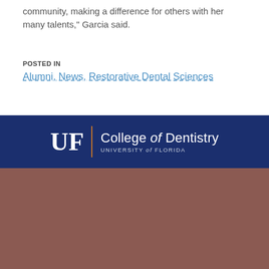community, making a difference for others with her many talents," Garcia said.
POSTED IN
Alumni, News, Restorative Dental Sciences
[Figure (logo): UF College of Dentistry, University of Florida logo in white on navy background]
[Figure (photo): Brown/mauve textured background footer area]